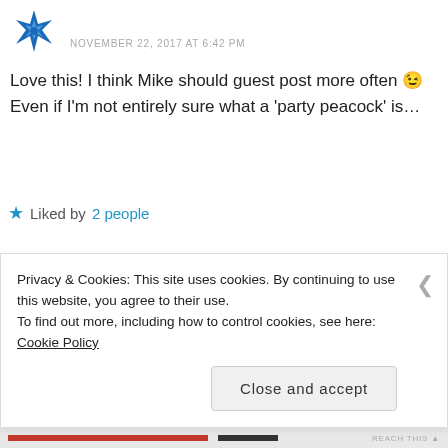NOVEMBER 22, 2017 AT 6:42 PM
Love this! I think Mike should guest post more often 😉 Even if I'm not entirely sure what a 'party peacock' is…
★ Liked by 2 people
REPLY ↩
Privacy & Cookies: This site uses cookies. By continuing to use this website, you agree to their use. To find out more, including how to control cookies, see here: Cookie Policy
Close and accept